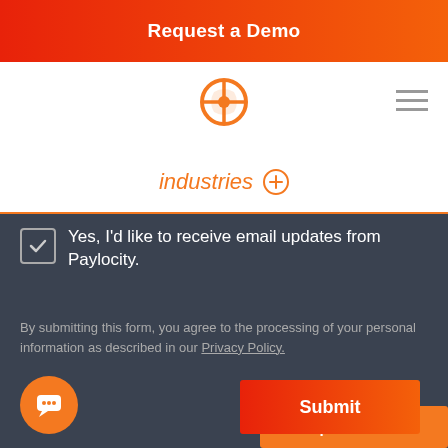Request a Demo
[Figure (logo): Paylocity logo — orange circle with white shield/compass shape]
industries ⊕
Yes, I'd like to receive email updates from Paylocity.
By submitting this form, you agree to the processing of your personal information as described in our Privacy Policy.
Submit
Request a Demo